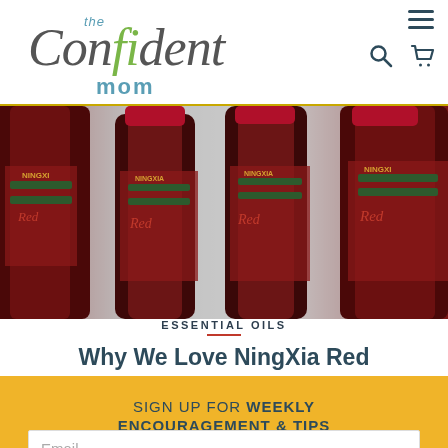The Confident Mom — navigation header with logo, hamburger menu, search and cart icons
[Figure (photo): Multiple dark brown bottles of NingXia Red supplement juice with red and green labels, arranged on a light grey background]
ESSENTIAL OILS
Why We Love NingXia Red
SIGN UP FOR WEEKLY ENCOURAGEMENT & TIPS
Email